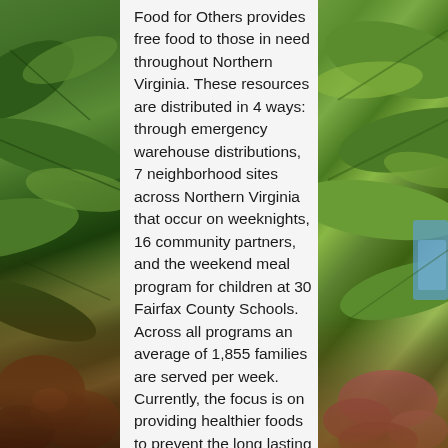[Figure (photo): Left side: close-up photo of green plant leaves with brown organic elements (caterpillar/pod) at the bottom]
Food for Others provides free food to those in need throughout Northern Virginia. These resources are distributed in 4 ways: through emergency warehouse distributions, 7 neighborhood sites across Northern Virginia that occur on weeknights, 16 community partners, and the weekend meal program for children at 30 Fairfax County Schools. Across all programs an average of 1,855 families are served per week. Currently, the focus is on providing healthier foods to prevent the long lasting detrimental effects that poor nutrition can have on the community.
[Figure (photo): Right side: close-up photo of large succulent/cactus green leaves with blue sky visible, and pink/red plant element at bottom]